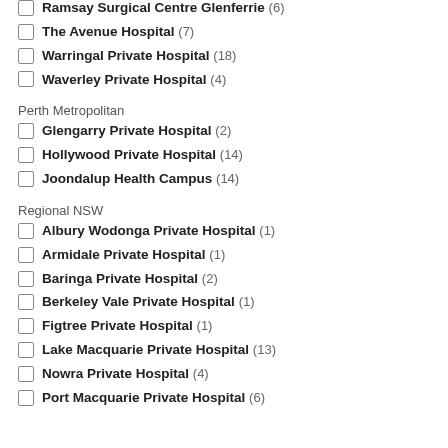Ramsay Surgical Centre Glenferrie (6)
The Avenue Hospital (7)
Warringal Private Hospital (18)
Waverley Private Hospital (4)
Perth Metropolitan
Glengarry Private Hospital (2)
Hollywood Private Hospital (14)
Joondalup Health Campus (14)
Regional NSW
Albury Wodonga Private Hospital (1)
Armidale Private Hospital (1)
Baringa Private Hospital (2)
Berkeley Vale Private Hospital (1)
Figtree Private Hospital (1)
Lake Macquarie Private Hospital (13)
Nowra Private Hospital (4)
Port Macquarie Private Hospital (6)